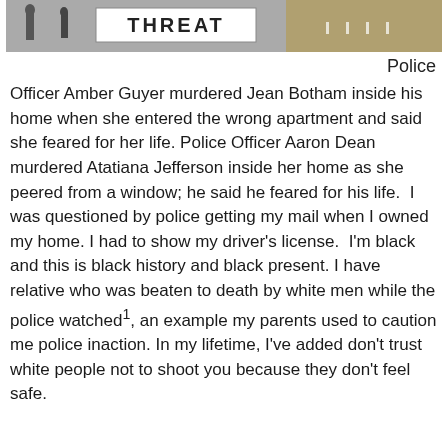[Figure (photo): Partial photograph showing a protest or demonstration scene with a banner/sign, black and white or sepia toned image.]
Police
Officer Amber Guyer murdered Jean Botham inside his home when she entered the wrong apartment and said she feared for her life. Police Officer Aaron Dean murdered Atatiana Jefferson inside her home as she peered from a window; he said he feared for his life.  I was questioned by police getting my mail when I owned my home. I had to show my driver's license.  I'm black and this is black history and black present. I have relative who was beaten to death by white men while the police watched¹, an example my parents used to caution me police inaction. In my lifetime, I've added don't trust white people not to shoot you because they don't feel safe.